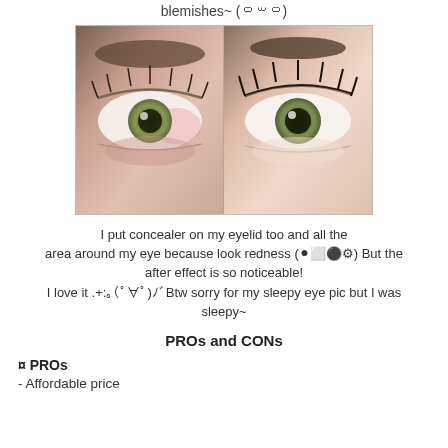blemishes~ (꒪꒳꒪)
[Figure (photo): Before and after comparison photo of an eye with concealer applied. Left half shows eye with redness and no makeup; right half shows eye with concealer applied around the eyelid area, appearing brighter and less red.]
I put concealer on my eyelid too and all the area around my eye because look redness (●︿●) But the after effect is so noticeable!
I love it .+:｡(ﾟ∀ﾟ)ﾉﾞBtw sorry for my sleepy eye pic but I was sleepy~
PROs and CONs
¤ PROs
- Affordable price